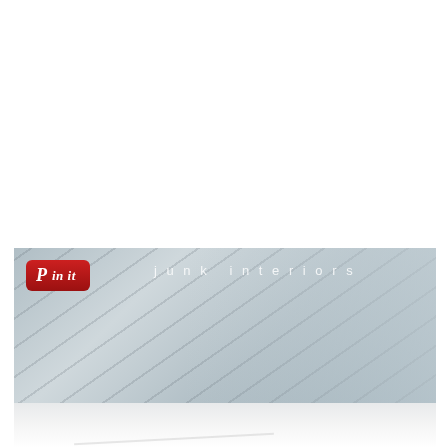[Figure (photo): Interior photo showing diagonal white-painted wooden ceiling planks with a light grey-blue tone. A 'Pin it' button overlay is visible in the top-left corner of the image, and the text 'junk interiors' appears in spaced white letters. The bottom portion shows a white marble or light surface.]